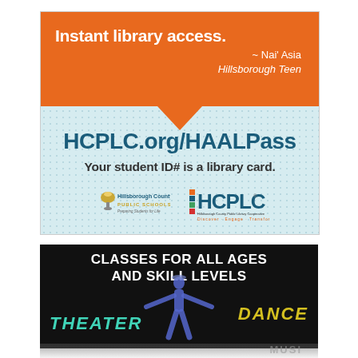[Figure (infographic): HCPLC HAALPass library card advertisement. Orange speech bubble at top reads 'Instant library access.' attributed to '~ Nai' Asia, Hillsborough Teen'. Light blue dotted background with text 'HCPLC.org/HAALPass' and 'Your student ID# is a library card.' Hillsborough County Public Schools and HCPLC logos at bottom.]
[Figure (infographic): Dark background advertisement for classes. Text reads 'CLASSES FOR ALL AGES AND SKILL LEVELS' in white bold. Words THEATER in teal and DANCE in yellow on sides. Dancer in blue costume in center.]